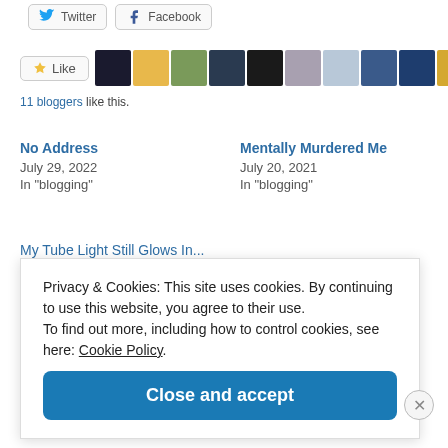[Figure (screenshot): Twitter and Facebook social share buttons]
[Figure (screenshot): Like button with 11 blogger avatar thumbnails]
11 bloggers like this.
No Address
July 29, 2022
In "blogging"
Mentally Murdered Me
July 20, 2021
In "blogging"
My Tube Light Still Glows In...
Privacy & Cookies: This site uses cookies. By continuing to use this website, you agree to their use.
To find out more, including how to control cookies, see here: Cookie Policy
Close and accept